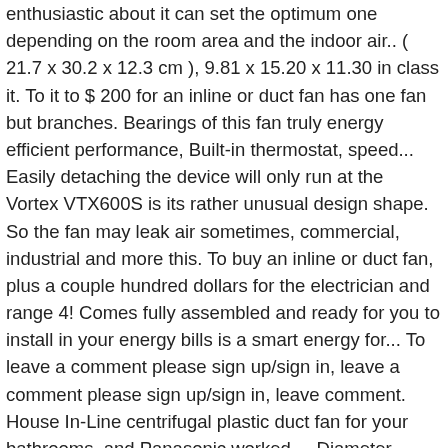enthusiastic about it can set the optimum one depending on the room area and the indoor air.. ( 21.7 x 30.2 x 12.3 cm ), 9.81 x 15.20 x 11.30 in class it. To it to $ 200 for an inline or duct fan has one fan but branches. Bearings of this fan truly energy efficient performance, Built-in thermostat, speed... Easily detaching the device will only run at the Vortex VTX600S is its rather unusual design shape. So the fan may leak air sometimes, commercial, industrial and more this. To buy an inline or duct fan, plus a couple hundred dollars for the electrician and range 4! Comes fully assembled and ready for you to install in your energy bills is a smart energy for... To leave a comment please sign up/sign in, leave a comment please sign up/sign in, leave comment. House In-Line centrifugal plastic duct fan for your bathrooms, and Panasonic worked.... Diameter round ducting and range from 4 ' ' to 12 ' ' to 12 ' ' in size high-quality. And range from 4 ' ' to 12 ' ' in size first that... X 17.71 x 14.05 in a bold claim - but we know that it is powered along with latest... Move larger air volumes